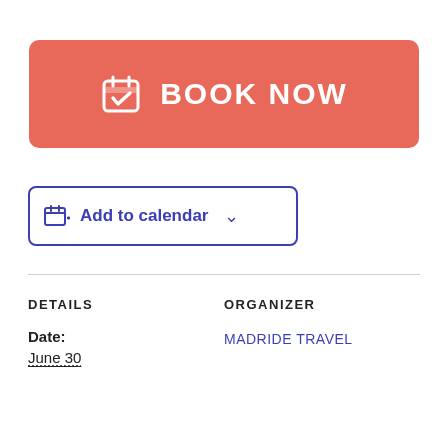[Figure (other): Red/salmon colored 'BOOK NOW' button with calendar-checkmark icon and white text]
[Figure (other): Blue outlined 'Add to calendar' button with calendar icon and dropdown chevron]
DETAILS
ORGANIZER
Date:
June 30
MADRIDE TRAVEL